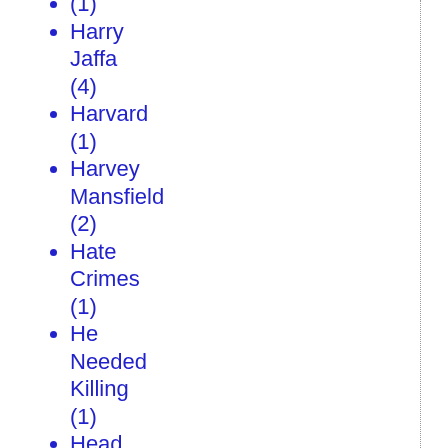(1)
Harry Jaffa (4)
Harvard (1)
Harvey Mansfield (2)
Hate Crimes (1)
He Needed Killing (1)
Head Start (1)
Health Care (12)
Health Insurance (4)